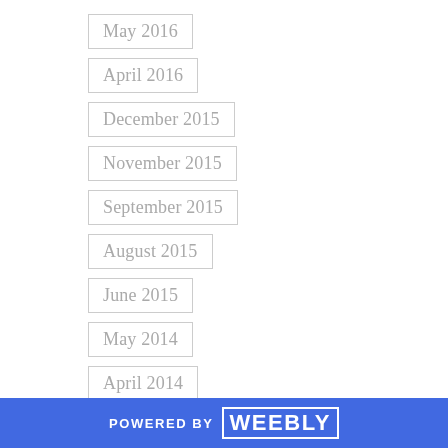May 2016
April 2016
December 2015
November 2015
September 2015
August 2015
June 2015
May 2014
April 2014
March 2014
February 2014
January 2014
December 2013
POWERED BY weebly